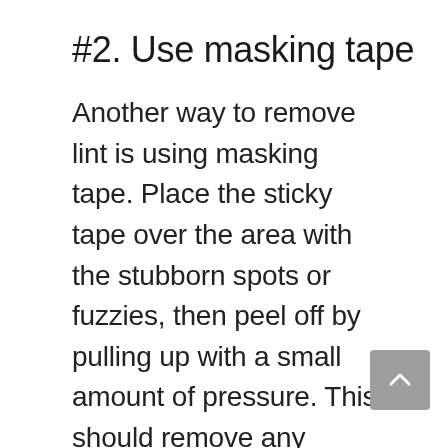#2. Use masking tape
Another way to remove lint is using masking tape. Place the sticky tape over the area with the stubborn spots or fuzzies, then peel off by pulling up with a small amount of pressure. This should remove any remaining lint and make your clothes look clean again.
#3. Using white vinegar
Add a cup of it to your wash during the final rinse